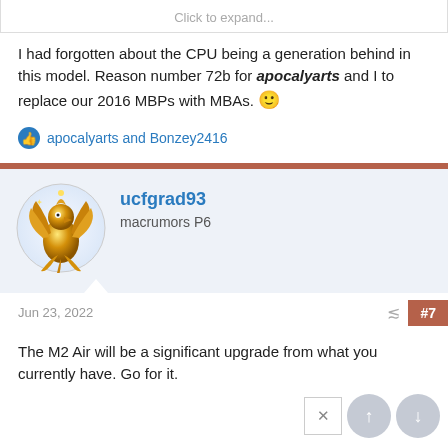Click to expand...
I had forgotten about the CPU being a generation behind in this model. Reason number 72b for apocalyarts and I to replace our 2016 MBPs with MBAs. 🙂
apocalyarts and Bonzey2416
ucfgrad93
macrumors P6
Jun 23, 2022
#7
The M2 Air will be a significant upgrade from what you currently have. Go for it.